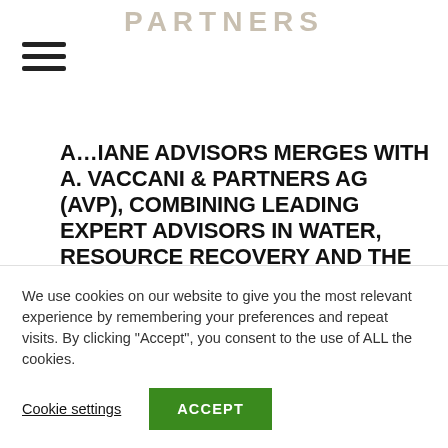PARTNERS
AMANE ADVISORS MERGES WITH A. VACCANI & PARTNERS AG (AVP), COMBINING LEADING EXPERT ADVISORS IN WATER, RESOURCE RECOVERY AND THE CIRCULAR ECONOMY
OXFORD, UK, 26 May, 2022 – Amane Advisors, the premier global strategic advisory firm for water and...
We use cookies on our website to give you the most relevant experience by remembering your preferences and repeat visits. By clicking “Accept”, you consent to the use of ALL the cookies.
Cookie settings | ACCEPT